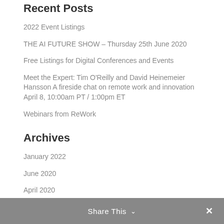Recent Posts
2022 Event Listings
THE AI FUTURE SHOW – Thursday 25th June 2020
Free Listings for Digital Conferences and Events
Meet the Expert: Tim O'Reilly and David Heinemeier Hansson A fireside chat on remote work and innovation April 8, 10:00am PT / 1:00pm ET
Webinars from ReWork
Archives
January 2022
June 2020
April 2020
March 2020
February 2020
December 2019
Share This ∨  ✕